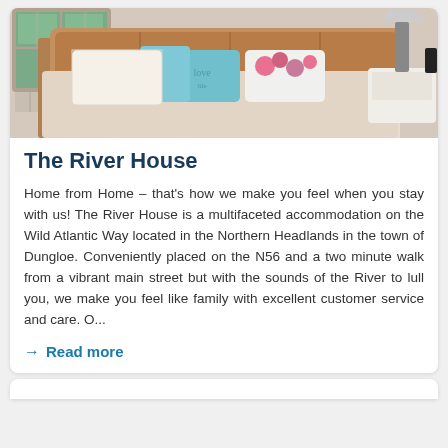[Figure (photo): Interior bedroom photo showing a double bed with teal/floral decorative pillows, wooden headboard, white bedside table with lamp, and a window with garden view.]
The River House
Home from Home – that's how we make you feel when you stay with us! The River House is a multifaceted accommodation on the Wild Atlantic Way located in the Northern Headlands in the town of Dungloe. Conveniently placed on the N56 and a two minute walk from a vibrant main street but with the sounds of the River to lull you, we make you feel like family with excellent customer service and care. O...
→ Read more